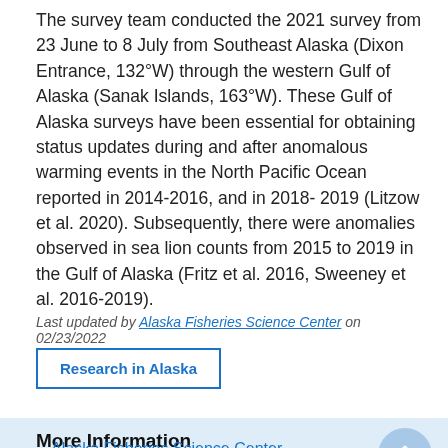The survey team conducted the 2021 survey from 23 June to 8 July from Southeast Alaska (Dixon Entrance, 132°W) through the western Gulf of Alaska (Sanak Islands, 163°W). These Gulf of Alaska surveys have been essential for obtaining status updates during and after anomalous warming events in the North Pacific Ocean reported in 2014-2016, and in 2018- 2019 (Litzow et al. 2020). Subsequently, there were anomalies observed in sea lion counts from 2015 to 2019 in the Gulf of Alaska (Fritz et al. 2016, Sweeney et al. 2016-2019).
Last updated by Alaska Fisheries Science Center on 02/23/2022
Research in Alaska
More Information
Alaska Fisheries Science Center